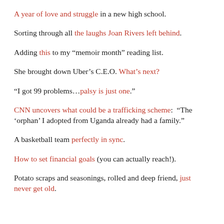A year of love and struggle in a new high school.
Sorting through all the laughs Joan Rivers left behind.
Adding this to my “memoir month” reading list.
She brought down Uber’s C.E.O. What’s next?
“I got 99 problems…palsy is just one.”
CNN uncovers what could be a trafficking scheme: “The ‘orphan’ I adopted from Uganda already had a family.”
A basketball team perfectly in sync.
How to set financial goals (you can actually reach!).
Potato scraps and seasonings, rolled and deep friend, just never get old.